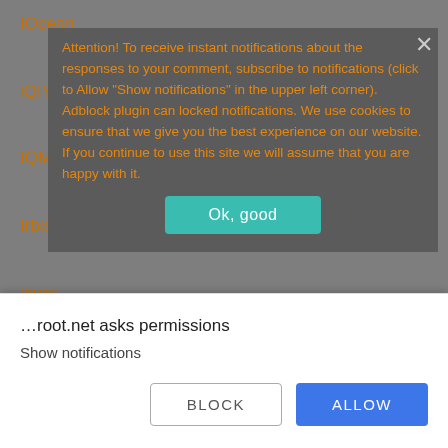IOcean
iQIYI
IQMI
Irbis
iriver
Irulu
Itel
Attention! To receive instant notifications about the responses to your comment, subscribe to notifications (click to Allow "Show notifications" in the upper left corner). Adblock plugin can locked notifications. We use cookies to ensure that we give you the best experience on our website. If you continue to use this site we will assume that you are happy with it.
Ok, good
IUNI
JCB
JESY
Jiayu
…root.net asks permissions
Show notifications
BLOCK
ALLOW